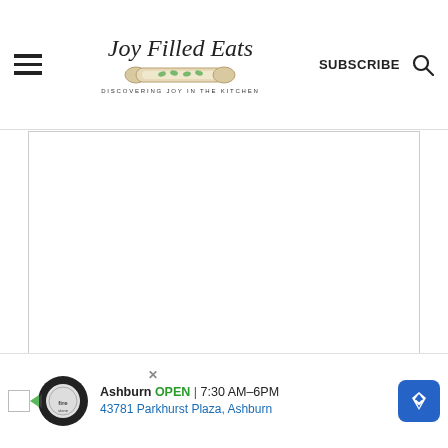Joy Filled Eats — DISCOVERING JOY IN THE KITCHEN | SUBSCRIBE
[Figure (illustration): Blank white recipe card area with border]
Ingredients
[Figure (screenshot): Advertisement banner: Firestone Auto Care, Ashburn OPEN 7:30 AM–6PM, 43781 Parkhurst Plaza, Ashburn]
1 tablespoon dried minced onion